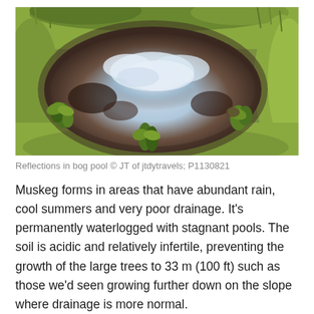[Figure (photo): A bog pool reflecting clouds and sky, surrounded by grass and small plants. The water has a dark brownish tint with white cloud reflections. Green vegetation borders the pool on all sides.]
Reflections in bog pool © JT of jtdytravels; P1130821
Muskeg forms in areas that have abundant rain, cool summers and very poor drainage. It's permanently waterlogged with stagnant pools. The soil is acidic and relatively infertile, preventing the growth of the large trees to 33 m (100 ft) such as those we'd seen growing further down on the slope where drainage is more normal.